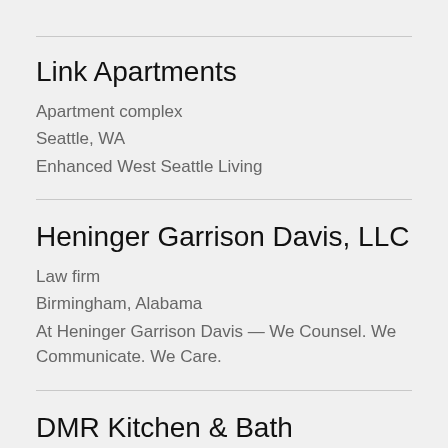Link Apartments
Apartment complex
Seattle, WA
Enhanced West Seattle Living
Heninger Garrison Davis, LLC
Law firm
Birmingham, Alabama
At Heninger Garrison Davis — We Counsel. We Communicate. We Care.
DMR Kitchen & Bath